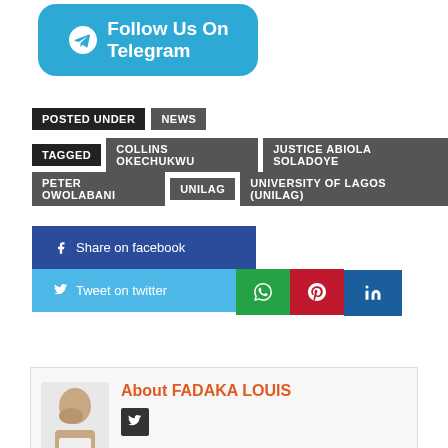[Figure (other): Telegram follow us button - rounded rectangle with telegram icon and text 'Follow Us On Telegram']
POSTED UNDER  NEWS
TAGGED  COLLINS OKECHUKWU  JUSTICE ABIOLA SOLADOYE
PETER OWOLABANI  UNILAG  UNIVERSITY OF LAGOS (UNILAG)
[Figure (other): Social share buttons: Share on facebook, Tweet on twitter, WhatsApp, Pinterest, LinkedIn]
About FADAKA LOUIS
View all posts by FADAKA LOUIS →